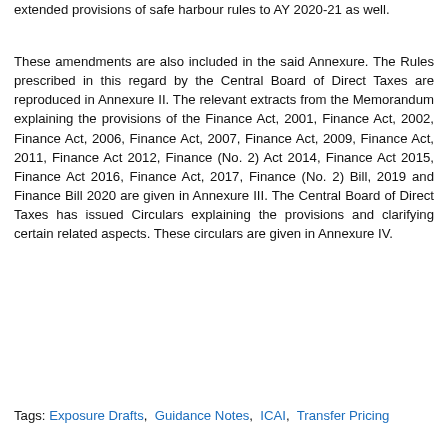extended provisions of safe harbour rules to AY 2020-21 as well.
These amendments are also included in the said Annexure. The Rules prescribed in this regard by the Central Board of Direct Taxes are reproduced in Annexure II. The relevant extracts from the Memorandum explaining the provisions of the Finance Act, 2001, Finance Act, 2002, Finance Act, 2006, Finance Act, 2007, Finance Act, 2009, Finance Act, 2011, Finance Act 2012, Finance (No. 2) Act 2014, Finance Act 2015, Finance Act 2016, Finance Act, 2017, Finance (No. 2) Bill, 2019 and Finance Bill 2020 are given in Annexure III. The Central Board of Direct Taxes has issued Circulars explaining the provisions and clarifying certain related aspects. These circulars are given in Annexure IV.
Tags: Exposure Drafts, Guidance Notes, ICAI, Transfer Pricing